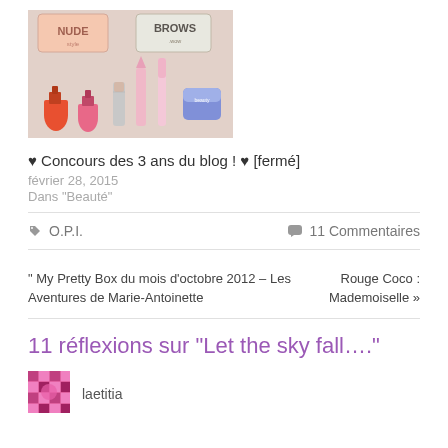[Figure (photo): Photo of makeup products including nail polish, lipstick, mascara, and cosmetic boxes labeled NUDE and BROWS on a beige surface]
♥ Concours des 3 ans du blog ! ♥ [fermé]
février 28, 2015
Dans "Beauté"
🏷 O.P.I.
💬 11 Commentaires
" My Pretty Box du mois d'octobre 2012 – Les Aventures de Marie-Antoinette
Rouge Coco : Mademoiselle »
11 réflexions sur "Let the sky fall...."
laetitia